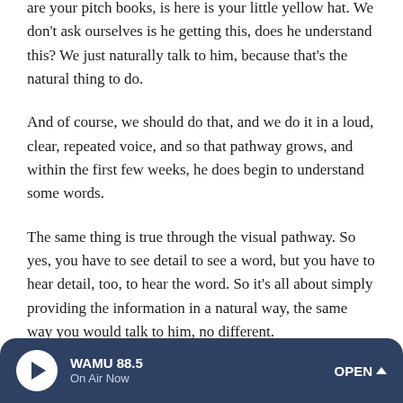are your pitch books, is here is your little yellow hat. We don't ask ourselves is he getting this, does he understand this? We just naturally talk to him, because that's the natural thing to do.
And of course, we should do that, and we do it in a loud, clear, repeated voice, and so that pathway grows, and within the first few weeks, he does begin to understand some words.
The same thing is true through the visual pathway. So yes, you have to see detail to see a word, but you have to hear detail, too, to hear the word. So it's all about simply providing the information in a natural way, the same way you would talk to him, no different.
WAMU 88.5 On Air Now OPEN